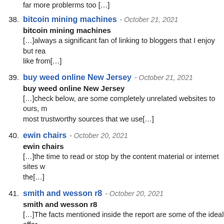far more problerms too […]
38. bitcoin mining machines - October 21, 2021
bitcoin mining machines
[…]always a significant fan of linking to bloggers that I enjoy but rea like from[…]
39. buy weed online New Jersey - October 21, 2021
buy weed online New Jersey
[…]check below, are some completely unrelated websites to ours, most trustworthy sources that we use[…]
40. ewin chairs - October 20, 2021
ewin chairs
[…]the time to read or stop by the content material or internet sites w the[…]
41. smith and wesson r8 - October 20, 2021
smith and wesson r8
[…]The facts mentioned inside the report are some of the ideal offer
42. beretta 96 for sale - October 19, 2021